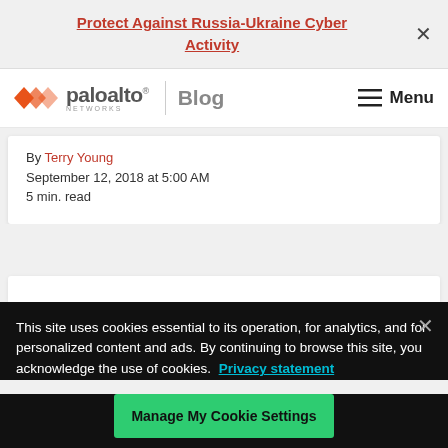Protect Against Russia-Ukraine Cyber Activity
[Figure (logo): Palo Alto Networks logo with Blog text and Menu navigation]
By Terry Young
September 12, 2018 at 5:00 AM
5 min. read
This site uses cookies essential to its operation, for analytics, and for personalized content and ads. By continuing to browse this site, you acknowledge the use of cookies. Privacy statement
Manage My Cookie Settings